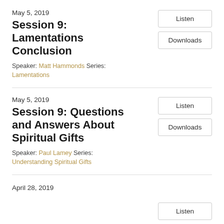May 5, 2019
Session 9: Lamentations Conclusion
Speaker: Matt Hammonds Series: Lamentations
May 5, 2019
Session 9: Questions and Answers About Spiritual Gifts
Speaker: Paul Lamey Series: Understanding Spiritual Gifts
April 28, 2019